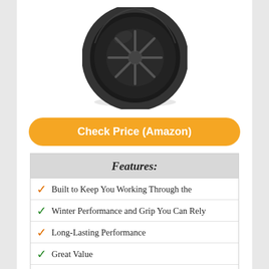[Figure (photo): A black winter tire with dark alloy rim, viewed from a slight angle. The tire shows tread pattern on the outer edge.]
Check Price (Amazon)
| Features: |
| --- |
| Built to Keep You Working Through the |
| Winter Performance and Grip You Can Rely |
| Long-Lasting Performance |
| Great Value |
| Fit type: Vehicle Specific |